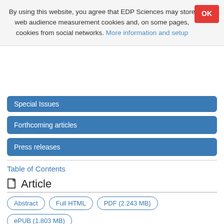By using this website, you agree that EDP Sciences may store web audience measurement cookies and, on some pages, cookies from social networks. More information and setup
Special Issues
Forthcoming articles
Press releases
Table of Contents
Article
Abstract | Full HTML | PDF (2.243 MB) | ePUB (1.803 MB) | References | Simbad Objects | NASA ADS Abstract Service
Metrics